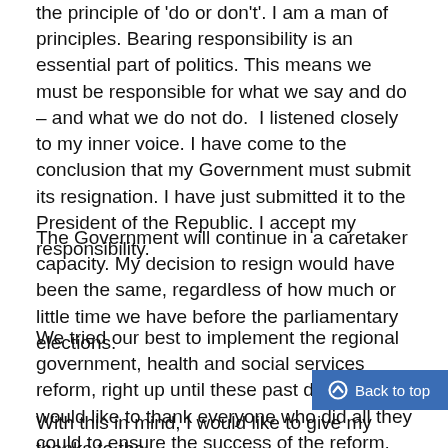the principle of 'do or don't'. I am a man of principles. Bearing responsibility is an essential part of politics. This means we must be responsible for what we say and do – and what we do not do.  I listened closely to my inner voice. I have come to the conclusion that my Government must submit its resignation. I have just submitted it to the President of the Republic. I accept my responsibility.
The Government will continue in a caretaker capacity. My decision to resign would have been the same, regardless of how much or little time we have before the parliamentary elections.
We tried our best to implement the regional government, health and social services reform, right up until these past days. I would like to thank everyone who did all they could to ensure the success of the reform. The need for reform in society has not gone anywhere. Finland cannot go on this way. Reforms are needed. Otherwise Finland will not get by.
With this in mind, I would like to give my thanks to the